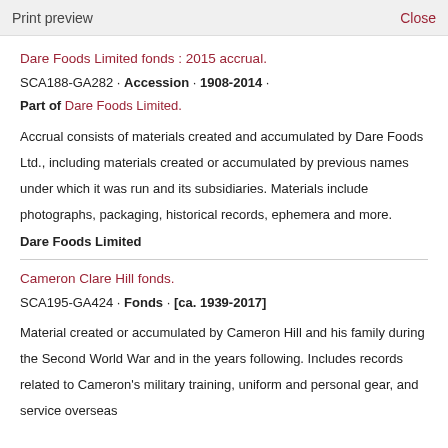Print preview    Close
Dare Foods Limited fonds : 2015 accrual.
SCA188-GA282 · Accession · 1908-2014 ·
Part of Dare Foods Limited.
Accrual consists of materials created and accumulated by Dare Foods Ltd., including materials created or accumulated by previous names under which it was run and its subsidiaries. Materials include photographs, packaging, historical records, ephemera and more.
Dare Foods Limited
Cameron Clare Hill fonds.
SCA195-GA424 · Fonds · [ca. 1939-2017]
Material created or accumulated by Cameron Hill and his family during the Second World War and in the years following. Includes records related to Cameron's military training, uniform and personal gear, and service overseas